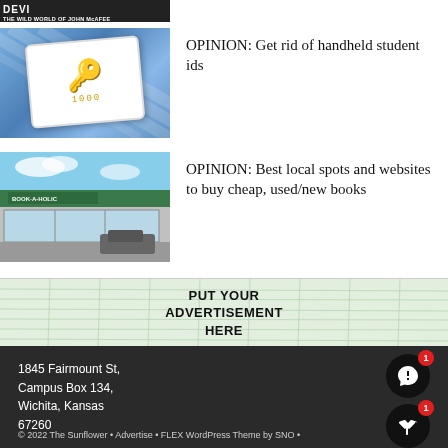[Figure (screenshot): Partial top strip showing dark banner with text 'THE WILD WORLD OF JOHN McAFEE' and partial heading 'DEVI' visible]
[Figure (illustration): Blue striped background with a white card featuring a gold key icon and numbers '1000']
OPINION: Get rid of handheld student ids
[Figure (photo): Photo of a Book-A-Holic bookstore exterior with green roof trim and parking lot]
OPINION: Best local spots and websites to buy cheap, used/new books
[Figure (infographic): Advertisement banner on crumpled paper-like background reading PUT YOUR ADVERTISEMENT HERE]
1845 Fairmount St, Campus Box 134, Wichita, Kansas 67260
© 2022 The Sunflower • Advertise • FLEX WordPress Theme by SNO •